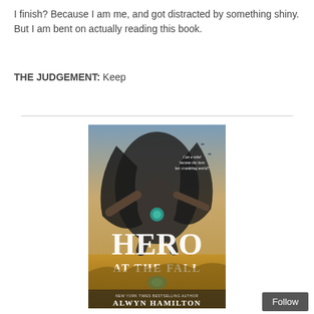I finish? Because I am me, and got distracted by something shiny. But I am bent on actually reading this book.
THE JUDGEMENT: Keep
[Figure (photo): Book cover of 'Hero at the Fall' by Alwyn Hamilton. Shows a cloaked figure leaping/falling with dramatic desert landscape background. Text on cover reads 'Can a rebel become the hero her crumbling world?' and 'NEW YORK TIMES BESTSELLING AUTHOR ALWYN HAMILTON'.]
Follow